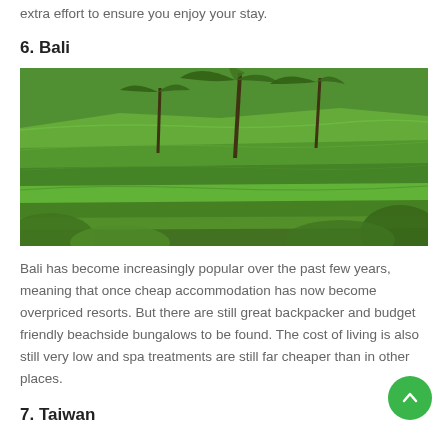extra effort to ensure you enjoy your stay.
6. Bali
[Figure (photo): Lush green terraced rice fields in Bali with palm trees]
Bali has become increasingly popular over the past few years, meaning that once cheap accommodation has now become overpriced resorts. But there are still great backpacker and budget friendly beachside bungalows to be found. The cost of living is also still very low and spa treatments are still far cheaper than in other places.
7. Taiwan